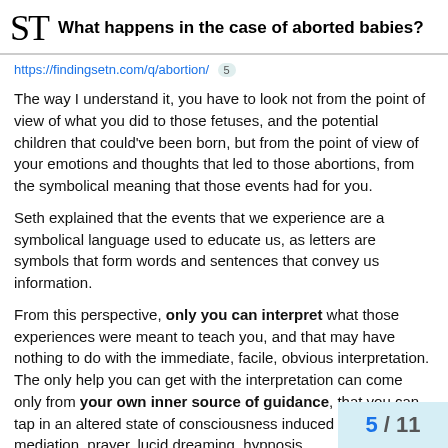What happens in the case of aborted babies?
https://findingsetn.com/q/abortion/ 5
The way I understand it, you have to look not from the point of view of what you did to those fetuses, and the potential children that could've been born, but from the point of view of your emotions and thoughts that led to those abortions, from the symbolical meaning that those events had for you.
Seth explained that the events that we experience are a symbolical language used to educate us, as letters are symbols that form words and sentences that convey us information.
From this perspective, only you can interpret what those experiences were meant to teach you, and that may have nothing to do with the immediate, facile, obvious interpretation. The only help you can get with the interpretation can come only from your own inner source of guidance, that you can tap in an altered state of consciousness induced through mediation, prayer, lucid dreaming, hypnosis, …
5 / 11